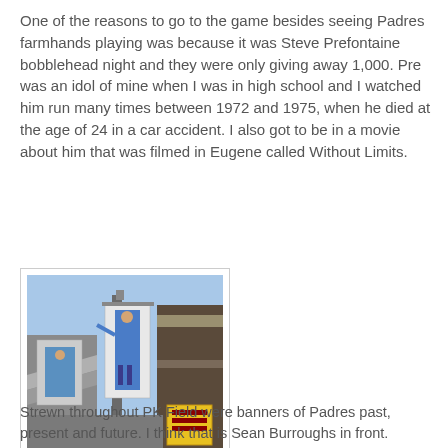One of the reasons to go to the game besides seeing Padres farmhands playing was because it was Steve Prefontaine bobblehead night and they were only giving away 1,000.  Pre was an idol of mine when I was in high school and I watched him run many times between 1972 and 1975, when he died at the age of 24 in a car accident.  I also got to be in a movie about him that was filmed in Eugene called Without Limits.
[Figure (photo): Exterior photo of PK Field showing banners of Padres players mounted on poles/structures, with stadium architecture visible in the background. A yellow banner is visible lower right. Blue sky above.]
Strewn throughout PK Field were banners of Padres past, present and future.  I think that is Sean Burroughs in front.